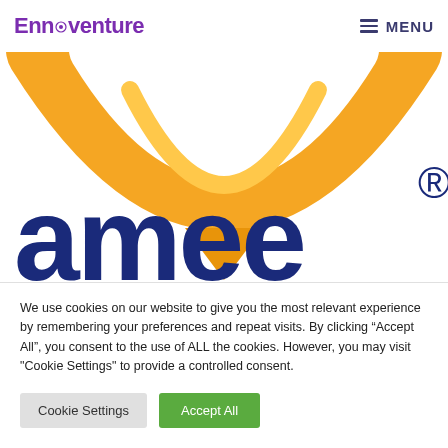Ennoventure  MENU
[Figure (logo): AMEE logo — orange chevron/arc shape above large dark blue lowercase 'amee' text with registered trademark symbol]
We use cookies on our website to give you the most relevant experience by remembering your preferences and repeat visits. By clicking “Accept All”, you consent to the use of ALL the cookies. However, you may visit "Cookie Settings" to provide a controlled consent.
Cookie Settings  Accept All